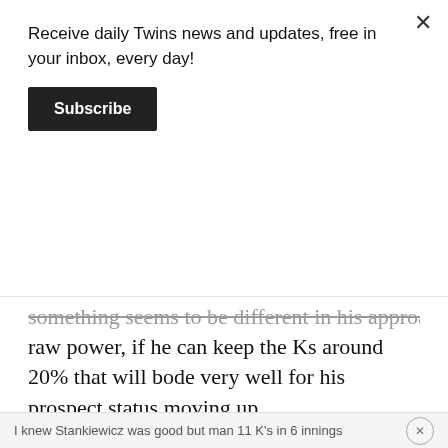Receive daily Twins news and updates, free in your inbox, every day!
Subscribe
something seems to be different in his approach. With his raw power, if he can keep the Ks around 20% that will bode very well for his prospect status moving up.
[Figure (screenshot): Video player showing error: This video file cannot be played. (Error Code: 2 24003)]
Quote
Dman
Gold Caretaker
Posted April 16
I knew Stankiewicz was good but man 11 K's in 6 innings